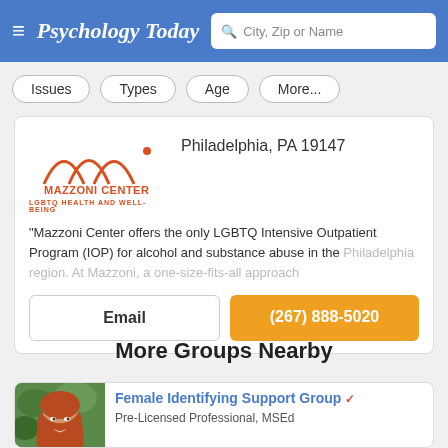Psychology Today — City, Zip or Name search
Issues
Types
Age
More...
[Figure (logo): Mazzoni Center LGBTQ Health and Well-Being logo with arc design]
Philadelphia, PA 19147
"Mazzoni Center offers the only LGBTQ Intensive Outpatient Program (IOP) for alcohol and substance abuse in the Philadelphia region. At Mazzoni, a one-size-fits-all approach
Email
(267) 888-5020
More Groups Nearby
[Figure (photo): Portrait photo of a woman with red hair against green foliage background]
Female Identifying Support Group ✓
Pre-Licensed Professional, MSEd